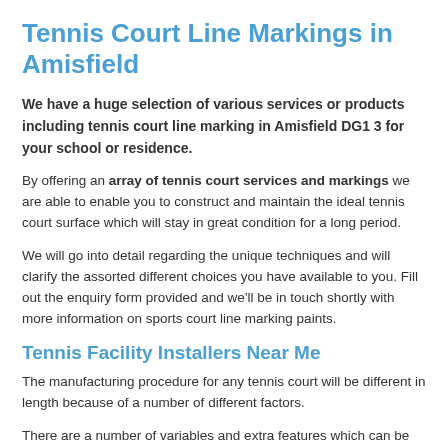Tennis Court Line Markings in Amisfield
We have a huge selection of various services or products including tennis court line marking in Amisfield DG1 3 for your school or residence.
By offering an array of tennis court services and markings we are able to enable you to construct and maintain the ideal tennis court surface which will stay in great condition for a long period.
We will go into detail regarding the unique techniques and will clarify the assorted different choices you have available to you. Fill out the enquiry form provided and we'll be in touch shortly with more information on sports court line marking paints.
Tennis Facility Installers Near Me
The manufacturing procedure for any tennis court will be different in length because of a number of different factors.
There are a number of variables and extra features which can be